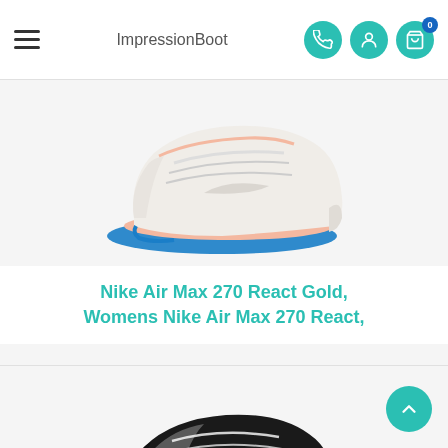ImpressionBoot — navigation header with hamburger menu, logo, phone, account, and cart icons
[Figure (photo): White Nike Air Max 270 React sneaker with blue sole and pink Air unit, shown from the side on a light background]
Nike Air Max 270 React Gold, Womens Nike Air Max 270 React,
[Figure (photo): Black and grey Nike Air Max 270 React sneaker with white swoosh and white sole, shown from the side on a light background]